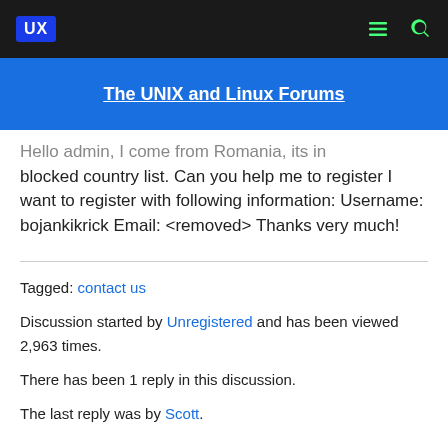UX | The UNIX and Linux Forums
Hello admin, I come from Romania, its in blocked country list. Can you help me to register I want to register with following information: Username: bojankikrick Email: <removed> Thanks very much!
Tagged: contact us
Discussion started by Unregistered and has been viewed 2,963 times.
There has been 1 reply in this discussion.
The last reply was by Scott.